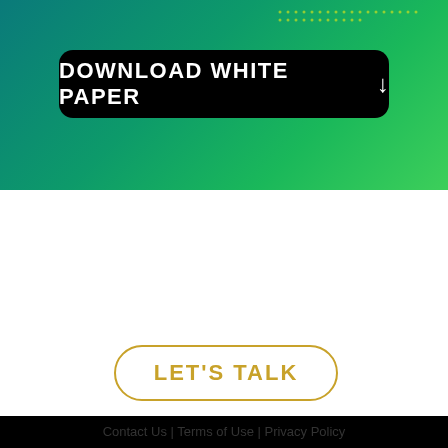[Figure (illustration): Green gradient banner with dotted pattern at top right and a black rounded rectangle button reading DOWNLOAD WHITE PAPER with a down arrow]
DOWNLOAD WHITE PAPER ↓
[Figure (illustration): Black background section with particle/dot pattern in bottom right corner]
We have the solutions for you. Do you have a business query?
LET'S TALK
Contact Us | Terms of Use | Privacy Policy